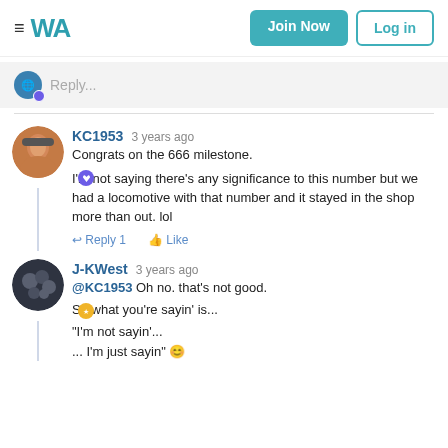WA | Join Now | Log in
Reply...
KC1953  3 years ago
Congrats on the 666 milestone.

I'm not saying there's any significance to this number but we had a locomotive with that number and it stayed in the shop more than out. lol

Reply 1   Like
J-KWest  3 years ago
@KC1953 Oh no. that's not good.

So what you're sayin' is...

"I'm not sayin'...
... I'm just sayin" 😊